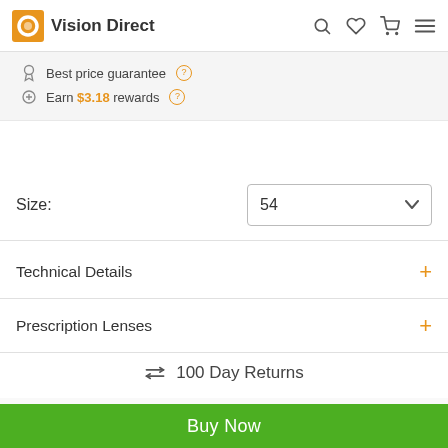Vision Direct
Best price guarantee
Earn $3.18 rewards
Size: 54
Technical Details
Prescription Lenses
⇄ 100 Day Returns
Buy Now